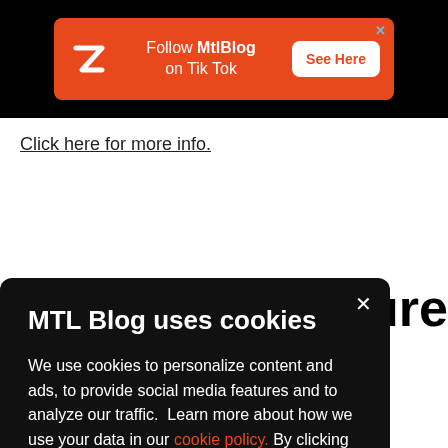[Figure (infographic): Orange advertisement banner for MtlBlog on TikTok with logo, text 'Follow MtlBlog on Tik Tok', and 'See Here' button, on black background]
Click here for more info.
cture
MTL Blog uses cookies
We use cookies to personalize content and ads, to provide social media features and to analyze our traffic. Learn more about how we use your data in our cookie policy. By clicking Accept, you allow us to use cookies to give you the best experience on site.
Accept